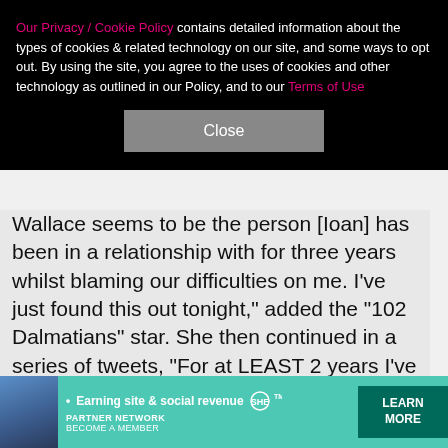Our Privacy / Cookie Policy contains detailed information about the types of cookies & related technology on our site, and some ways to opt out. By using the site, you agree to the uses of cookies and other technology as outlined in our Policy, and to our Terms of Use
Close
Wallace seems to be the person [Ioan] has been in a relationship with for three years whilst blaming our difficulties on me. I've just found this out tonight," added the "102 Dalmatians" star. She then continued in a series of tweets, "For at LEAST 2 years I've been told 'by him' I'm just not interesting or lovable enough. … Why couldn't he have just told me the truth..? Why did he have to gaslight me? … Why couldn't he just have told me he had met someone. … They started seeing each other before he told me he didn't love me and
[Figure (photo): Advertisement banner for SHE Media Partner Network featuring a woman and text: Earning site & social revenue, SHE Partner Network, Become a Member, Learn More]